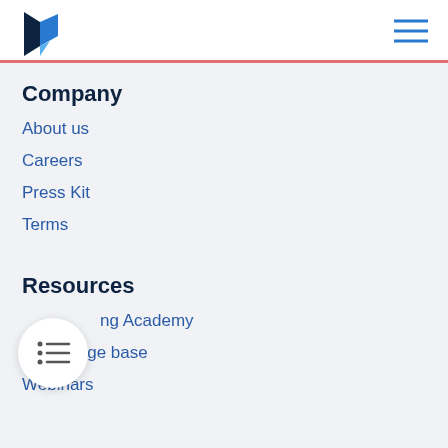[Figure (logo): Blue stylized P letter logo]
Company
About us
Careers
Press Kit
Terms
Resources
Marketing Academy
Knowledge base
Webinars